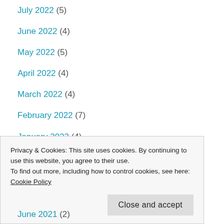July 2022 (5)
June 2022 (4)
May 2022 (5)
April 2022 (4)
March 2022 (4)
February 2022 (7)
January 2022 (4)
December 2021 (5)
November 2021 (5)
Privacy & Cookies: This site uses cookies. By continuing to use this website, you agree to their use.
To find out more, including how to control cookies, see here:
Cookie Policy
June 2021 (2)